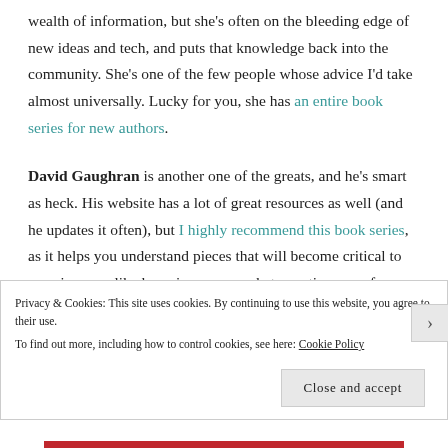wealth of information, but she's often on the bleeding edge of new ideas and tech, and puts that knowledge back into the community. She's one of the few people whose advice I'd take almost universally. Lucky for you, she has an entire book series for new authors.
David Gaughran is another one of the greats, and he's smart as heck. His website has a lot of great resources as well (and he updates it often), but I highly recommend this book series, as it helps you understand pieces that will become critical to your journey, like knowing your market, creating superfans and (gasp!), mastering advertising.
Privacy & Cookies: This site uses cookies. By continuing to use this website, you agree to their use. To find out more, including how to control cookies, see here: Cookie Policy